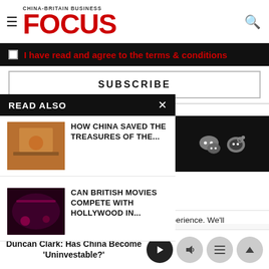CHINA-BRITAIN BUSINESS FOCUS
I have read and agree to the terms & conditions
SUBSCRIBE
READ ALSO
HOW CHINA SAVED THE TREASURES OF THE...
CAN BRITISH MOVIES COMPETE WITH HOLLYWOOD IN...
il 2020 All rights reserved. itain Business Council, providing onal information on the China ndscape
This website uses cookies to improve your experience. We'll
Duncan Clark: Has China Become 'Uninvestable?'